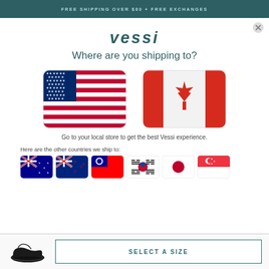FREE SHIPPING OVER $80 + FREE EXCHANGES
vessi
Where are you shipping to?
[Figure (illustration): Two large flag icons: US flag on the left, Canadian flag on the right, both with rounded rectangle borders]
Go to your local store to get the best Vessi experience.
Here are the other countries we ship to:
[Figure (illustration): Row of six small flag icons: Australia, New Zealand, Taiwan, South Korea, Japan, Singapore]
[Figure (illustration): Black sneaker shoe thumbnail]
SELECT A SIZE